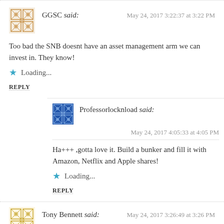[Figure (illustration): Avatar icon for user GGSC - decorative geometric tile pattern in brown/tan]
GGSC said:
May 24, 2017 3:22:37 at 3:22 PM
Too bad the SNB doesnt have an asset management arm we can invest in. They know!
Loading...
REPLY
[Figure (illustration): Avatar icon for user Professorlocknload - blue geometric tile pattern]
Professorlocknload said:
May 24, 2017 4:05:33 at 4:05 PM
Ha+++ ,gotta love it. Build a bunker and fill it with Amazon, Netflix and Apple shares!
Loading...
REPLY
[Figure (illustration): Avatar icon for user Tony Bennett - golden/yellow geometric tile pattern]
Tony Bennett said:
May 24, 2017 3:26:49 at 3:26 PM